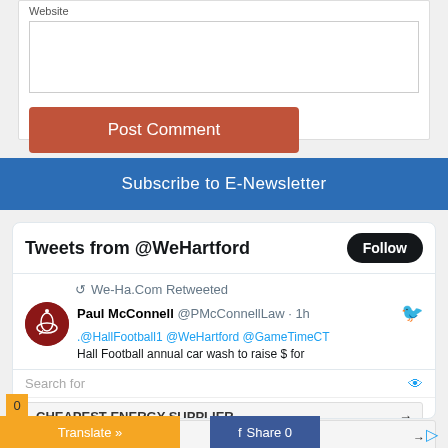Website
Post Comment
Subscribe to E-Newsletter
Tweets from @WeHartford
Follow
We-Ha.Com Retweeted
Paul McConnell @PMcConnellLaw · 1h
.@HallFootball1 @WeHartford @GameTimeCT Hall Football annual car wash to raise $ for
Search for
CHEAPEST ENERGY SUPPLIER
PSORIASIS OF THE SCALP
Share 0
0
Share
Translate »